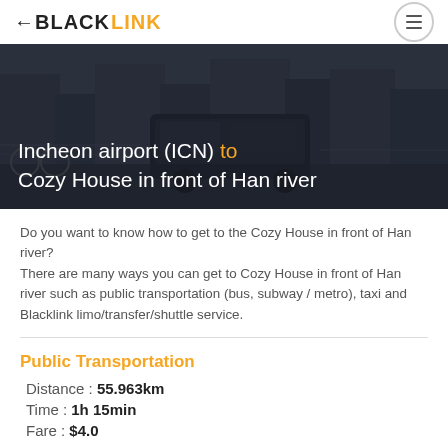BLACKLINK
[Figure (photo): Dark, blurred urban street scene with van/bus moving, city buildings in background. Overlay text: Incheon airport (ICN) to Cozy House in front of Han river]
Incheon airport (ICN) to Cozy House in front of Han river
Do you want to know how to get to the Cozy House in front of Han river? There are many ways you can get to Cozy House in front of Han river such as public transportation (bus, subway / metro), taxi and Blacklink limo/transfer/shuttle service.
Public Transportation
Distance : 55.963km
Time : 1h 15min
Fare : $4.0